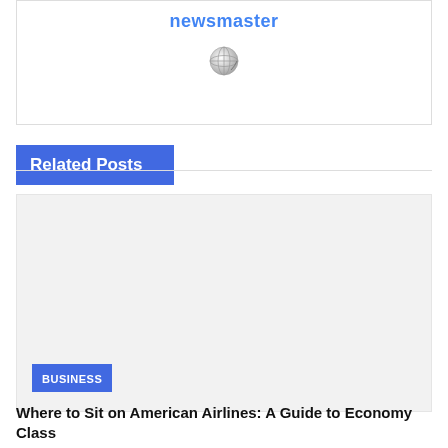newsmaster
[Figure (photo): Small globe/earth icon]
Related Posts
[Figure (photo): Large light gray placeholder image for a related post]
BUSINESS
Where to Sit on American Airlines: A Guide to Economy Class